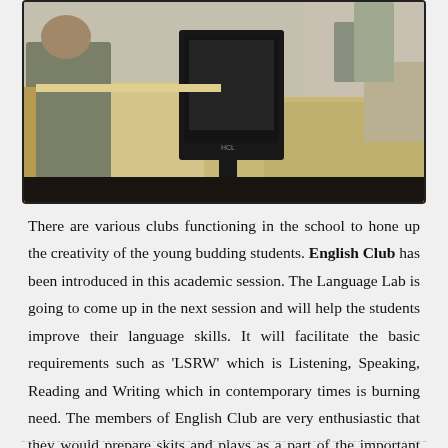[Figure (photo): Classroom or computer lab with a student or person seated behind a desk with a large black monitor (HCL brand). Wooden desks and chairs visible in the background.]
There are various clubs functioning in the school to hone up the creativity of the young budding students. English Club has been introduced in this academic session. The Language Lab is going to come up in the next session and will help the students improve their language skills. It will facilitate the basic requirements such as 'LSRW' which is Listening, Speaking, Reading and Writing which in contemporary times is burning need. The members of English Club are very enthusiastic that they would prepare skits and plays as a part of the important days celebrated in the school.